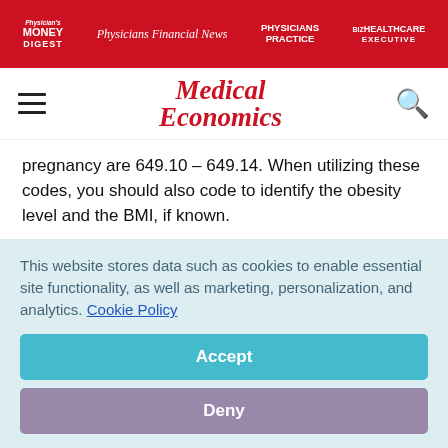Physician's Money Digest | Physicians Financial News | Physicians Practice | Biz Healthcare Executive
[Figure (logo): Medical Economics brand logo with hamburger menu and search icon]
pregnancy are 649.10 – 649.14. When utilizing these codes, you should also code to identify the obesity level and the BMI, if known.
According to the NCD for Treatment of Obesity, which can be found at Treatment of Obesity NCD, services performed in
This website stores data such as cookies to enable essential site functionality, as well as marketing, personalization, and analytics. Cookie Policy
Accept
Deny